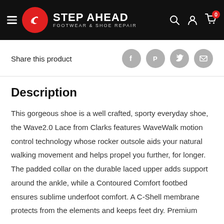Step Ahead Footwear & Shoe Repair
Share this product
Description
This gorgeous shoe is a well crafted, sporty everyday shoe, the Wave2.0 Lace from Clarks features WaveWalk motion control technology whose rocker outsole aids your natural walking movement and helps propel you further, for longer. The padded collar on the durable laced upper adds support around the ankle, while a Contoured Comfort footbed ensures sublime underfoot comfort. A C-Shell membrane protects from the elements and keeps feet dry. Premium